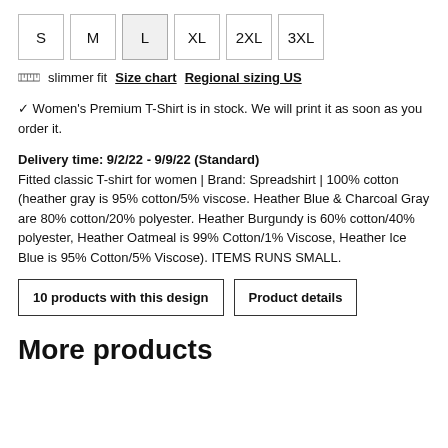S M L XL 2XL 3XL (size selector buttons)
slimmer fit  Size chart  Regional sizing US
✓ Women's Premium T-Shirt is in stock. We will print it as soon as you order it.
Delivery time: 9/2/22 - 9/9/22 (Standard)
Fitted classic T-shirt for women | Brand: Spreadshirt | 100% cotton (heather gray is 95% cotton/5% viscose. Heather Blue & Charcoal Gray are 80% cotton/20% polyester. Heather Burgundy is 60% cotton/40% polyester, Heather Oatmeal is 99% Cotton/1% Viscose, Heather Ice Blue is 95% Cotton/5% Viscose). ITEMS RUNS SMALL.
10 products with this design
Product details
More products